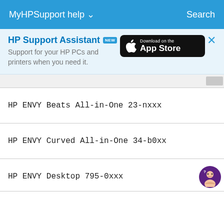MyHPSupport help ∨    Search
HP Support Assistant NEW
Support for your HP PCs and printers when you need it.
[Figure (other): Download on the App Store button (black rounded rectangle with Apple logo)]
HP ENVY Beats All-in-One 23-nxxx
HP ENVY Curved All-in-One 34-b0xx
HP ENVY Desktop 795-0xxx